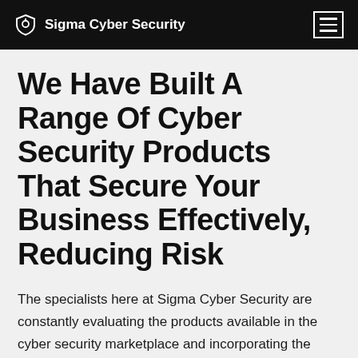Sigma Cyber Security
We Have Built A Range Of Cyber Security Products That Secure Your Business Effectively, Reducing Risk
The specialists here at Sigma Cyber Security are constantly evaluating the products available in the cyber security marketplace and incorporating the most effective solutions in our IT and cyber security product range.